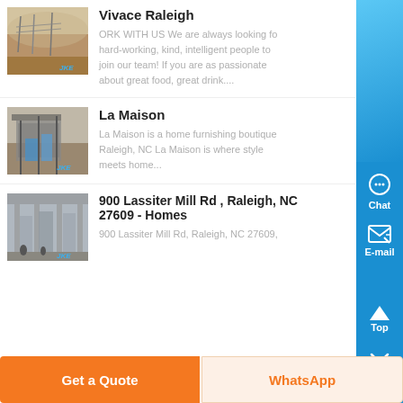[Figure (photo): Dusty outdoor scene with machinery or vehicles in a dry landscape]
Vivace Raleigh
ORK WITH US We are always looking for hard-working, kind, intelligent people to join our team! If you are as passionate about great food, great drink....
[Figure (photo): Industrial machinery or mining equipment at a construction site]
La Maison
La Maison is a home furnishing boutique Raleigh, NC La Maison is where style meets home...
[Figure (photo): Indoor industrial facility with large equipment and workers]
900 Lassiter Mill Rd , Raleigh, NC 27609 - Homes
900 Lassiter Mill Rd, Raleigh, NC 27609,